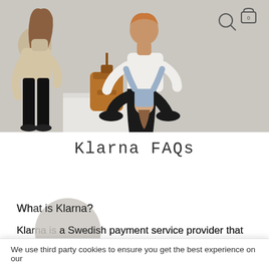[Figure (photo): Hero banner photo showing a woman and man with bags/accessories on a light grey background, with search and cart icons in top right]
Klarna FAQs
What is Klarna?
Klarna is a Swedish payment service provider that takes
We use third party cookies to ensure you get the best experience on our